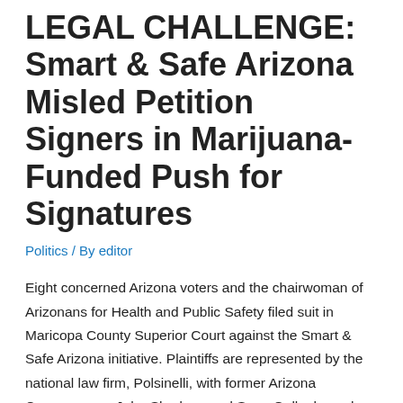LEGAL CHALLENGE: Smart & Safe Arizona Misled Petition Signers in Marijuana-Funded Push for Signatures
Politics / By editor
Eight concerned Arizona voters and the chairwoman of Arizonans for Health and Public Safety filed suit in Maricopa County Superior Court against the Smart & Safe Arizona initiative. Plaintiffs are represented by the national law firm, Polsinelli, with former Arizona Congressman John Shadegg and Sean Gallagher, who has argued successfully before the United States Supreme Court, as lead litigators.
The suit challenges the 100-word statement used by petition circulators to persuade individuals to provide their signatures and contends that the statement was misleading and left out key